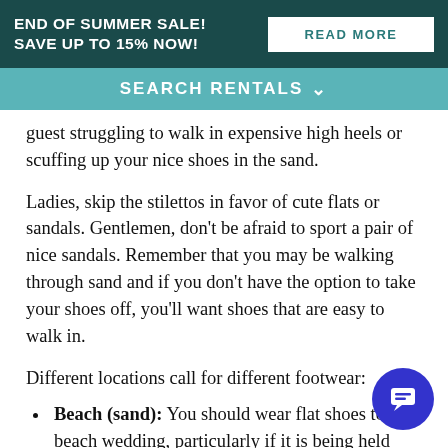END OF SUMMER SALE! SAVE UP TO 15% NOW! | READ MORE
SEARCH RENTALS
guest struggling to walk in expensive high heels or scuffing up your nice shoes in the sand.
Ladies, skip the stilettos in favor of cute flats or sandals. Gentlemen, don't be afraid to sport a pair of nice sandals. Remember that you may be walking through sand and if you don't have the option to take your shoes off, you'll want shoes that are easy to walk in.
Different locations call for different footwear:
Beach (sand): You should wear flat shoes to a beach wedding, particularly if it is being held right on the… Fancy flip-flops are perfect for most beach weddi… why not take it up a notch with a pretty sandal? Flat